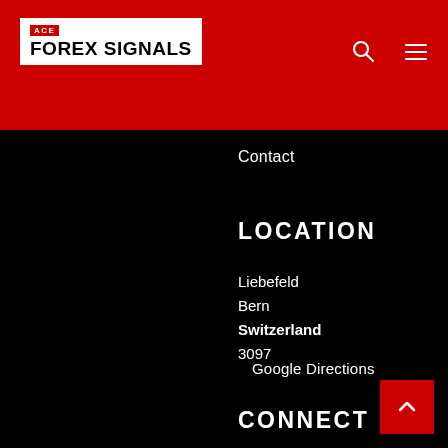[Figure (logo): ACE Forex Signals logo: white box with red ACE badge and black bold text FOREX SIGNALS]
Contact
LOCATION
Liebefeld
Bern
Switzerland
3097
Google Directions
CONNECT